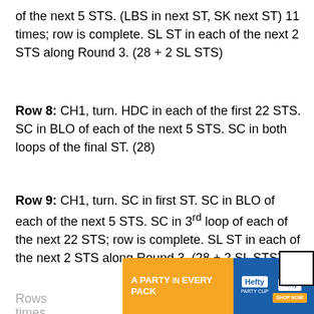of the next 5 STS. (LBS in next ST, SK next ST) 11 times; row is complete. SL ST in each of the next 2 STS along Round 3. (28 + 2 SL STS)
Row 8: CH1, turn. HDC in each of the first 22 STS. SC in BLO of each of the next 5 STS. SC in both loops of the final ST. (28)
Row 9: CH1, turn. SC in first ST. SC in BLO of each of the next 5 STS. SC in 3rd loop of each of the next 22 STS; row is complete. SL ST in each of the next 2 STS along Round 3. (28 + 2 SL STS)
Rows times.